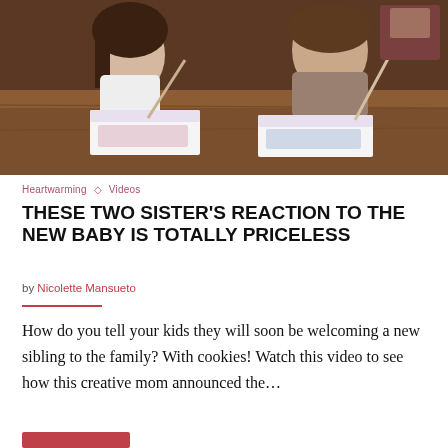[Figure (photo): Two girls sitting at a wooden table, each opening a decorated box with a stick, appearing to be doing a gender reveal or surprise activity indoors.]
Heartwarming ◇ Videos
THESE TWO SISTER'S REACTION TO THE NEW BABY IS TOTALLY PRICELESS
by Nicolette Mansueto
How do you tell your kids they will soon be welcoming a new sibling to the family? With cookies! Watch this video to see how this creative mom announced the…